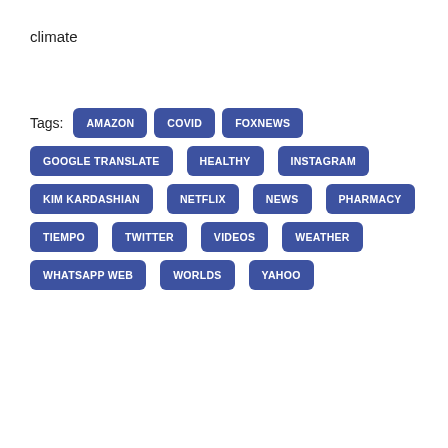climate
Tags: AMAZON COVID FOXNEWS GOOGLE TRANSLATE HEALTHY INSTAGRAM KIM KARDASHIAN NETFLIX NEWS PHARMACY TIEMPO TWITTER VIDEOS WEATHER WHATSAPP WEB WORLDS YAHOO